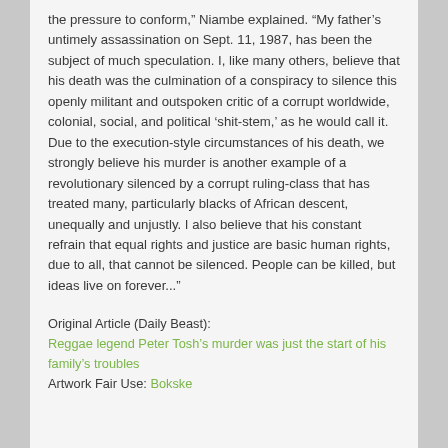the pressure to conform," Niambe explained. "My father's untimely assassination on Sept. 11, 1987, has been the subject of much speculation. I, like many others, believe that his death was the culmination of a conspiracy to silence this openly militant and outspoken critic of a corrupt worldwide, colonial, social, and political 'shit-stem,' as he would call it. Due to the execution-style circumstances of his death, we strongly believe his murder is another example of a revolutionary silenced by a corrupt ruling-class that has treated many, particularly blacks of African descent, unequally and unjustly. I also believe that his constant refrain that equal rights and justice are basic human rights, due to all, that cannot be silenced. People can be killed, but ideas live on forever..."
Original Article (Daily Beast): Reggae legend Peter Tosh's murder was just the start of his family's troubles
Artwork Fair Use: Bokske